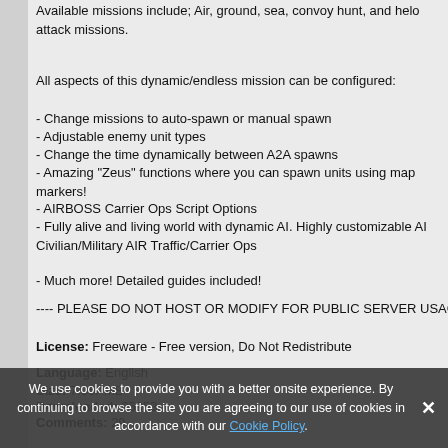Available missions include; Air, ground, sea, convoy hunt, and helo attack missions.
All aspects of this dynamic/endless mission can be configured:
- Change missions to auto-spawn or manual spawn
- Adjustable enemy unit types
- Change the time dynamically between A2A spawns
- Amazing "Zeus" functions where you can spawn units using map markers!
- AIRBOSS Carrier Ops Script Options
- Fully alive and living world with dynamic AI. Highly customizable AI Civilian/Military AIR Traffic/Carrier Ops
- Much more! Detailed guides included!
---- PLEASE DO NOT HOST OR MODIFY FOR PUBLIC SERVER USAGE --
License: Freeware - Free version, Do Not Redistribute
Language: English
Size: 7.06PMB
Downloaded: 25953
Comments: 29
We use cookies to provide you with a better onsite experience. By continuing to browse the site you are agreeing to our use of cookies in accordance with our Cookie Policy.